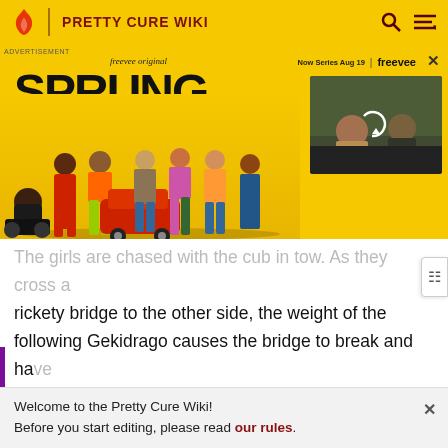PRETTY CURE WIKI
[Figure (screenshot): Advertisement banner for Amazon Freevee original series 'SPRUNG' showing cast characters on yellow background and a video thumbnail of two people in a car. Text reads 'freevee original', 'SPRUNG', 'Now Series Aug 19', 'freevee'.]
The girls are chased with the cub in tow. As they cross a rickety bridge to the other side, the weight of the following Gekidrago causes the bridge to break and have him plummet into the ravine below. The girls continue running, but the Zakenna leaps over the gap where the bridge used to be, cornering them. The girls wonder how to change her back, so Mipple suggests the "Rainbow
Welcome to the Pretty Cure Wiki!
Before you start editing, please read our rules.